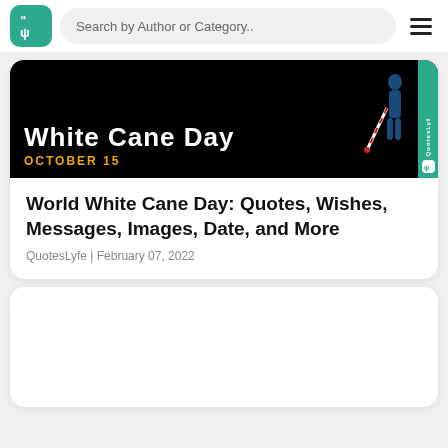Search by Author or Category..
[Figure (photo): White Cane Day banner image with text 'White Cane Day' and 'OCTOBER 15' on black background with walking figure silhouette]
World White Cane Day: Quotes, Wishes, Messages, Images, Date, and More
QuotesLyfe | February 07, 2022